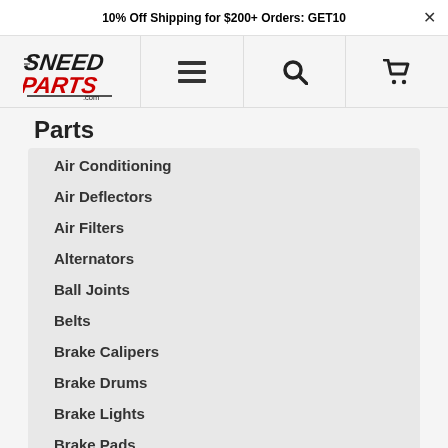10% Off Shipping for $200+ Orders: GET10
[Figure (logo): Sneed Parts .com logo with stylized italic text, SNEED in black and PARTS in red]
Parts
Air Conditioning
Air Deflectors
Air Filters
Alternators
Ball Joints
Belts
Brake Calipers
Brake Drums
Brake Lights
Brake Pads
Brake Rotors